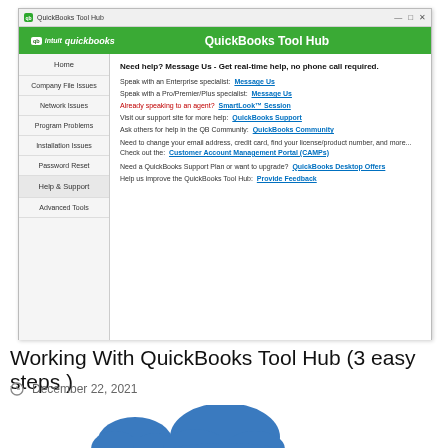[Figure (screenshot): QuickBooks Tool Hub application window showing the Help & Support section with navigation menu on left (Home, Company File Issues, Network Issues, Program Problems, Installation Issues, Password Reset, Help & Support, Advanced Tools) and content on right showing support options including Message Us links, SmartLook Session, QuickBooks Support, QuickBooks Community, Customer Account Management Portal (CAMPs), QuickBooks Desktop Offers, and Provide Feedback.]
Working With QuickBooks Tool Hub (3 easy steps )
December 22, 2021